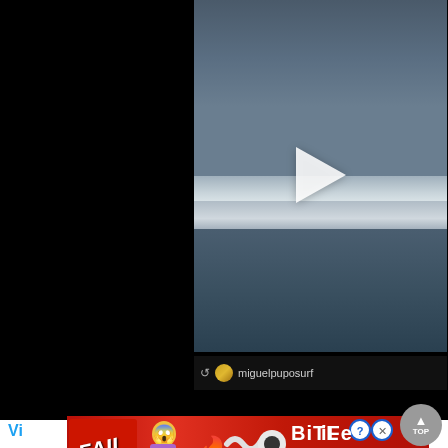[Figure (screenshot): Social media video thumbnail showing a large ocean wave with a play button overlay. Dark blue-grey wave scene. Below the video is a retweet attribution showing username 'miguelpuposurf'.]
Vi
[Figure (screenshot): Mobile advertisement banner for BitLife app featuring 'FAIL' text, a blonde cartoon character, flames, the BitLife logo with a pill/circle graphic, and 'START A NEW LIFE' text on black background.]